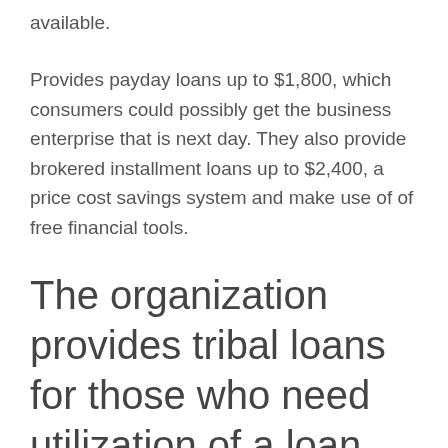available.
Provides payday loans up to $1,800, which consumers could possibly get the business enterprise that is next day. They also provide brokered installment loans up to $2,400, a price cost savings system and make use of of free financial tools.
The organization provides tribal loans for those who need utilization of a loan that is short-term of an emergency or difficulty that is economic